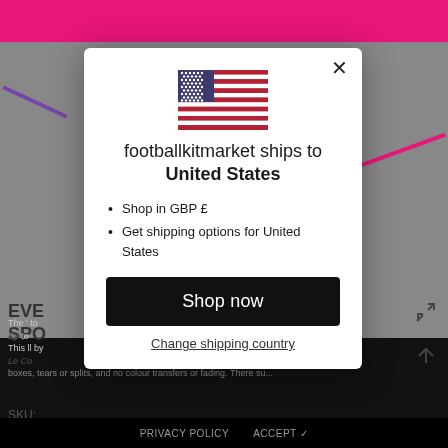[Figure (screenshot): Website background showing a football kit market page with pink/magenta top bar, gray background, partial product text on left (EVE, SPO, SKU:), icons on right, and dark footer with PRIVACY POLICY and ACCEPT text.]
[Figure (illustration): US flag SVG illustration centered in the modal dialog]
footballkitmarket ships to United States
Shop in GBP £
Get shipping options for United States
Shop now
Change shipping country